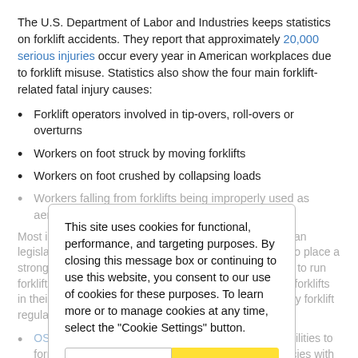The U.S. Department of Labor and Industries keeps statistics on forklift accidents. They report that approximately 20,000 serious injuries occur every year in American workplaces due to forklift misuse. Statistics also show the four main forklift-related fatal injury causes:
Forklift operators involved in tip-overs, roll-overs or overturns
Workers on foot struck by moving forklifts
Workers on foot crushed by collapsing loads
Workers falling from forklifts being improperly used as aerial lifts
Most importantly, this issue is also addressed by American legislation that requires four types of forklift regulations to place a strong safety onus on employers who authorize workers to run forklifts, regardless of their class. Every employer using forklifts in their workplace must be familiar with these two primary forklift regulatory documents:
OSHA 29CFR 1910.178 outlines employer responsibilities to formally train, evaluate and refresh forklift competencies with any employee authorized to operate a forklift.
American National Standards Institute (ANSI) B56.1-2016
This site uses cookies for functional, performance, and targeting purposes. By closing this message box or continuing to use this website, you consent to our use of cookies for these purposes. To learn more or to manage cookies at any time, select the "Cookie Settings" button.